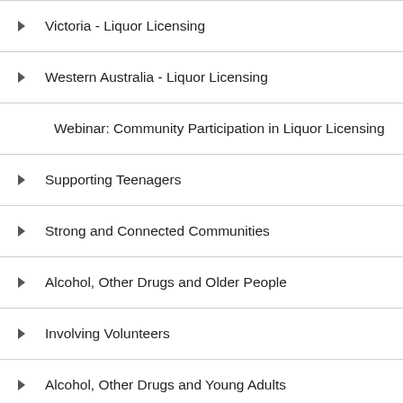Victoria - Liquor Licensing
Western Australia - Liquor Licensing
Webinar: Community Participation in Liquor Licensing
Supporting Teenagers
Strong and Connected Communities
Alcohol, Other Drugs and Older People
Involving Volunteers
Alcohol, Other Drugs and Young Adults
Pharmaceutical Drugs and Your Community
Healthy Workplaces